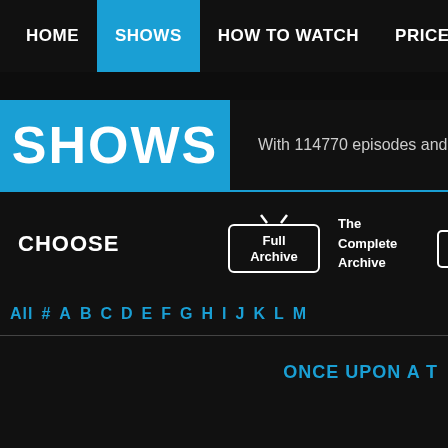HOME  SHOWS  HOW TO WATCH  PRICES  CONTA
SHOWS
With 114770 episodes and 3
CHOOSE
[Figure (logo): Full Archive TV icon logo with text 'The Complete Archive']
[Figure (logo): Newest Added TV icon logo with text 'Most Recently Archived Shows']
All # A B C D E F G H I J K L M
ONCE UPON A T